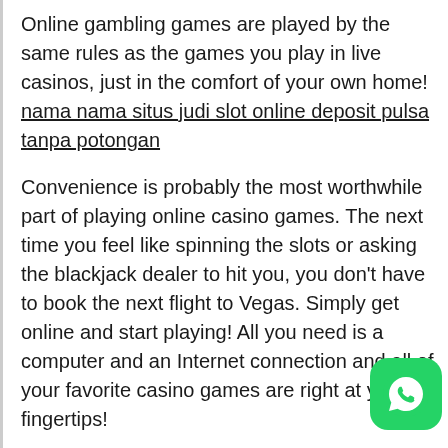Online gambling games are played by the same rules as the games you play in live casinos, just in the comfort of your own home! nama nama situs judi slot online deposit pulsa tanpa potongan
Convenience is probably the most worthwhile part of playing online casino games. The next time you feel like spinning the slots or asking the blackjack dealer to hit you, you don't have to book the next flight to Vegas. Simply get online and start playing! All you need is a computer and an Internet connection and all of your favorite casino games are right at your fingertips!
With Internet gambling you can also have a fantastic social experience. Gambling enthusiasts all over the world are gambling online and you can talk to them and even make lasting friendships! Multiplayer games like poker, blackjack and craps encourage players to interact with each other through live chat so you will have the opportunity to spe with people across the globe that you would never have chance to meet under ordinary circumstances. It's really
[Figure (logo): WhatsApp logo button — green rounded square with white phone/chat icon]